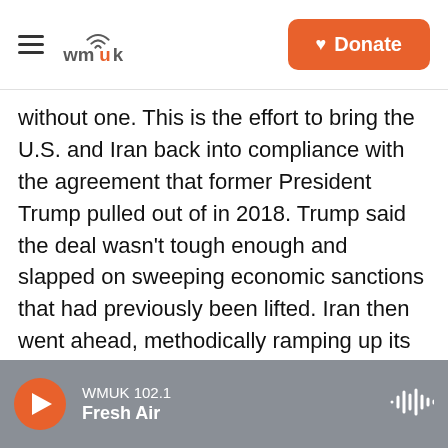wmuk | Donate
without one. This is the effort to bring the U.S. and Iran back into compliance with the agreement that former President Trump pulled out of in 2018. Trump said the deal wasn't tough enough and slapped on sweeping economic sanctions that had previously been lifted. Iran then went ahead, methodically ramping up its nuclear program again. Now, diplomats from the U.S. and Iran, along with France, Germany and other countries in the original deal, are in Vienna, and they say the pressure is on to wrap up talks soon. NPR's Peter Kenyon is there and joins us now. Hi, Peter.
WMUK 102.1 Fresh Air